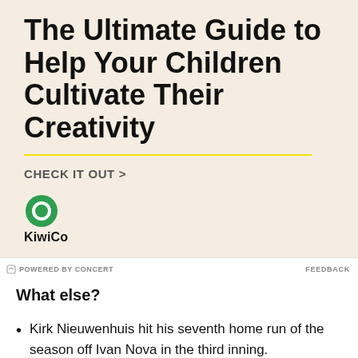[Figure (illustration): KiwoCo advertisement with cream/beige background. Large bold black text reads 'The Ultimate Guide to Help Your Children Cultivate Their Creativity'. Yellow horizontal line divider. 'CHECK IT OUT >' in grey uppercase text. KiwoCo logo (green circle with white diamond/kiwi icon) and 'KiwoCo' text below.]
POWERED BY CONCERT   FEEDBACK
What else?
Kirk Nieuwenhuis hit his seventh home run of the season off Ivan Nova in the third inning.